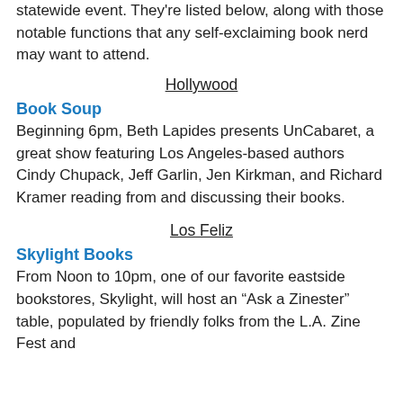statewide event. They're listed below, along with those notable functions that any self-exclaiming book nerd may want to attend.
Hollywood
Book Soup
Beginning 6pm, Beth Lapides presents UnCabaret, a great show featuring Los Angeles-based authors Cindy Chupack, Jeff Garlin, Jen Kirkman, and Richard Kramer reading from and discussing their books.
Los Feliz
Skylight Books
From Noon to 10pm, one of our favorite eastside bookstores, Skylight, will host an “Ask a Zinester” table, populated by friendly folks from the L.A. Zine Fest and